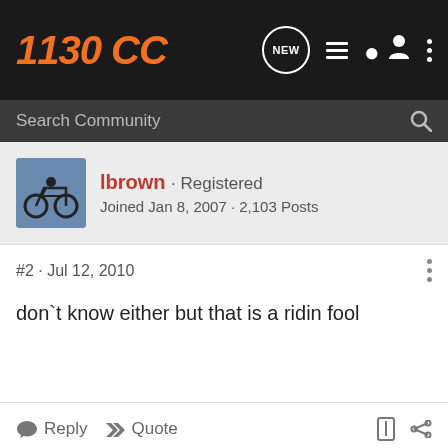1130CC
Search Community
lbrown · Registered
Joined Jan 8, 2007 · 2,103 Posts
#2 · Jul 12, 2010
don`t know either but that is a ridin fool
Reply  Quote
RodKing · The Crusades